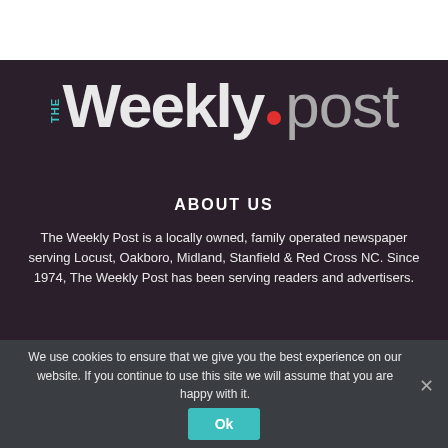[Figure (logo): The Weekly Post newspaper logo: 'THE' in teal vertical text, 'Weekly' in large bold white/light gray, red dot separator, 'post' in large light gray thin weight]
ABOUT US
The Weekly Post is a locally owned, family operated newspaper serving Locust, Oakboro, Midland, Stanfield & Red Cross NC. Since 1974, The Weekly Post has been serving readers and advertisers.
We use cookies to ensure that we give you the best experience on our website. If you continue to use this site we will assume that you are happy with it.